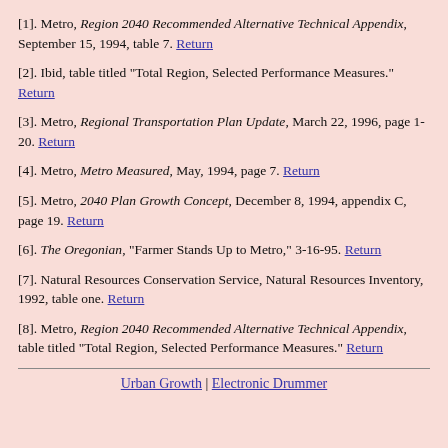[1]. Metro, Region 2040 Recommended Alternative Technical Appendix, September 15, 1994, table 7. Return
[2]. Ibid, table titled "Total Region, Selected Performance Measures." Return
[3]. Metro, Regional Transportation Plan Update, March 22, 1996, page 1-20. Return
[4]. Metro, Metro Measured, May, 1994, page 7. Return
[5]. Metro, 2040 Plan Growth Concept, December 8, 1994, appendix C, page 19. Return
[6]. The Oregonian, "Farmer Stands Up to Metro," 3-16-95. Return
[7]. Natural Resources Conservation Service, Natural Resources Inventory, 1992, table one. Return
[8]. Metro, Region 2040 Recommended Alternative Technical Appendix, table titled "Total Region, Selected Performance Measures." Return
Urban Growth | Electronic Drummer